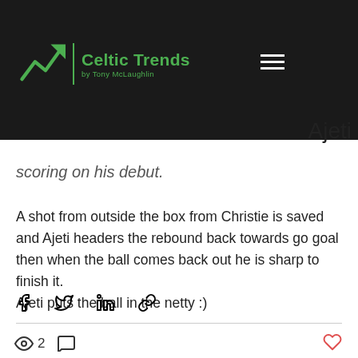Celtic Trends by Tony McLaughlin
scoring on his debut.
A shot from outside the box from Christie is saved and Ajeti headers the rebound back towards go goal then when the ball comes back out he is sharp to finish it.
Ajeti puts the ball in the netty :)
[Figure (other): Social share icons: Facebook, Twitter, LinkedIn, link]
[Figure (other): Post stats: eye/view icon with count 2, comment icon, heart/like icon]